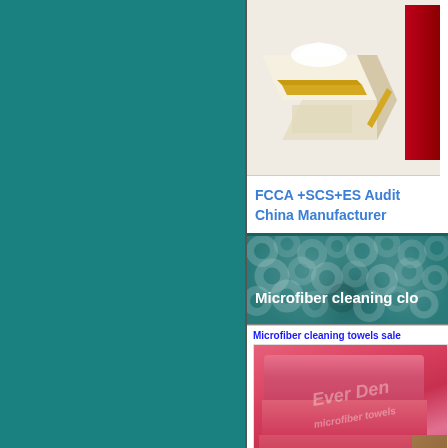[Figure (photo): Teal/green colored panel on the left side of the page]
[Figure (photo): Product photo of tissue/gift boxes in beige/cream color at top right]
FCCA +SCS+ES Audit China Manufacturer
[Figure (photo): Microfiber cleaning cloth texture banner in teal color with white text overlay reading 'Microfiber cleaning clo...']
Microfiber cleaning towels sale
[Figure (photo): Pink/rose colored microfiber cleaning towels folded in stack with watermark text and brown corner item visible]